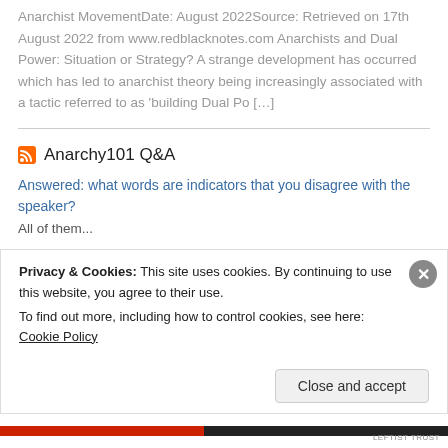Anarchist MovementDate: August 2022Source: Retrieved on 17th August 2022 from www.redblacknotes.com Anarchists and Dual Power: Situation or Strategy? A strange development has occurred which has led to anarchist theory being increasingly associated with a tactic referred to as 'building Dual Po [...]
Anarchy101 Q&A
Answered: what words are indicators that you disagree with the speaker?
All of them...
What does third wave anarchism mean to you?
If first wave anarchism can loosely be summarized as left-anarchism.
Privacy & Cookies: This site uses cookies. By continuing to use this website, you agree to their use.
To find out more, including how to control cookies, see here: Cookie Policy
Close and accept